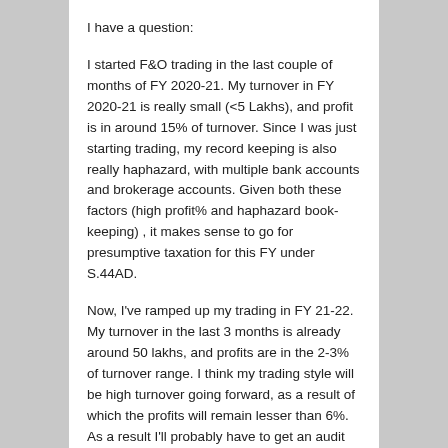I have a question:
I started F&O trading in the last couple of months of FY 2020-21. My turnover in FY 2020-21 is really small (<5 Lakhs), and profit is in around 15% of turnover. Since I was just starting trading, my record keeping is also really haphazard, with multiple bank accounts and brokerage accounts. Given both these factors (high profit% and haphazard book-keeping) , it makes sense to go for presumptive taxation for this FY under S.44AD.
Now, I've ramped up my trading in FY 21-22. My turnover in the last 3 months is already around 50 lakhs, and profits are in the 2-3% of turnover range. I think my trading style will be high turnover going forward, as a result of which the profits will remain lesser than 6%. As a result I'll probably have to get an audit done next year.
If I opt for 44AD this year and stop doing so next year, will this be a problem? I know there's a 5 year